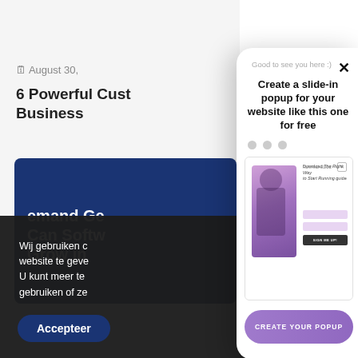[Figure (screenshot): Background blog page with partially visible image, date, and article title '6 Powerful Custo... Business']
August 30,
6 Powerful Custo... Business
[Figure (screenshot): Dark blue blog card partially showing text 'emand Ge... Can Softw... Grow in...']
Wij gebruiken c... website te geve... U kunt meer te... gebruiken of ze...
Accepteer
[Figure (screenshot): Slide-in popup overlay with heading 'Create a slide-in popup for your website like this one for free', preview image of a fitness popup, and CREATE YOUR POPUP button]
Good to see you here :)
Create a slide-in popup for your website like this one for free
CREATE YOUR POPUP